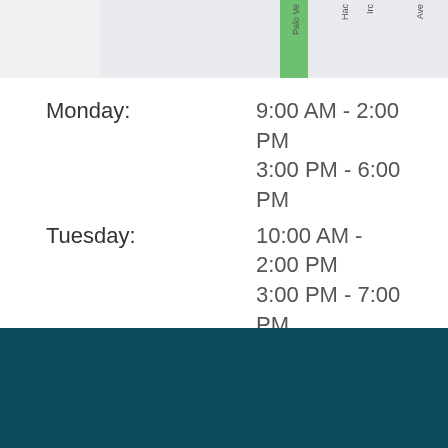[Figure (map): Street map snippet showing Palo Verde Ave area with a green highlighted street segment]
| Day | Hours |
| --- | --- |
| Monday: | 9:00 AM - 2:00 PM
3:00 PM - 6:00 PM |
| Tuesday: | 10:00 AM - 2:00 PM
3:00 PM - 7:00 PM |
| Wednesday: | 9:00 AM - 1:00 PM
2:00 PM - 6:00 PM |
| Thursday: | 10:00 AM - 2:00 PM
3:00 PM - 7:00 PM |
| Friday: | 9:00 AM - 1:00 PM
2:00 PM - 6:00 PM |
| Saturday: | Closed |
| Sunday: | Closed |